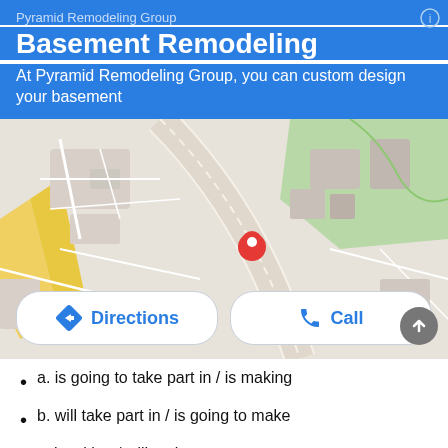Pyramid Remodeling Group
Basement Remodeling
At Pyramid Remodeling Group, you can custom design your basement
[Figure (screenshot): Google Maps screenshot showing a map with a red location pin marker in the center, with street roads and green area visible. Below the map are two buttons: Directions and Call.]
a. is going to take part in / is making
b. will take part in / is going to make
c. is taking / will make